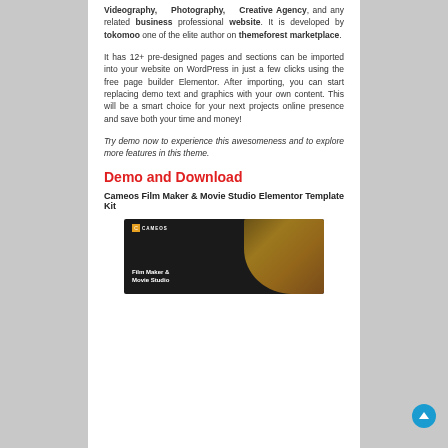Videography, Photography, Creative Agency, and any related business professional website. It is developed by tokomoo one of the elite author on themeforest marketplace.
It has 12+ pre-designed pages and sections can be imported into your website on WordPress in just a few clicks using the free page builder Elementor. After importing, you can start replacing demo text and graphics with your own content. This will be a smart choice for your next projects online presence and save both your time and money!
Try demo now to experience this awesomeness and to explore more features in this theme.
Demo and Download
Cameos Film Maker & Movie Studio Elementor Template Kit
[Figure (screenshot): Screenshot of Cameos Film Maker & Movie Studio Elementor Template Kit website preview with dark background and gold/amber gradient imagery, showing 'Film Maker & Movie Studio' label]